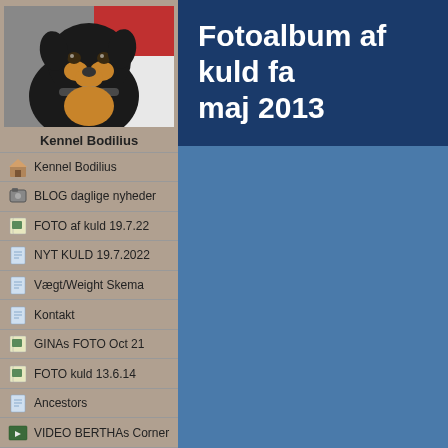[Figure (photo): Close-up photo of a black and tan dog (likely a Miniature Pinscher or similar breed) wearing a collar, with a red/white background]
Kennel Bodilius
Kennel Bodilius
BLOG daglige nyheder
FOTO af kuld 19.7.22
NYT KULD 19.7.2022
Vægt/Weight Skema
Kontakt
GINAs FOTO Oct 21
FOTO kuld 13.6.14
Ancestors
VIDEO BERTHAs Corner
Fotoalbum af kuld fa maj 2013